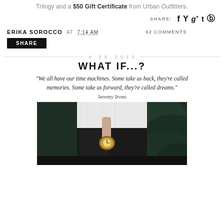Trilogy and a $50 Gift Certificate from Urban Outfitters.
SHARE: [social icons: facebook, twitter, google+, tumblr, pinterest]
ERIKA SOROCCO AT 7:14 AM   62 COMMENTS
SHARE
4.25.2010
WHAT IF...?
"We all have our time machines. Some take us back, they're called memories. Some take us forward, they're called dreams." Jeremy Irons
[Figure (photo): Person in white dress holding a pocket watch/clock, standing outdoors near green foliage]